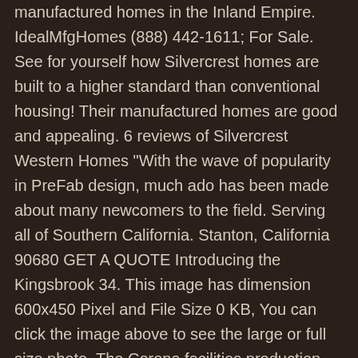manufactured homes in the Inland Empire. IdealMfgHomes (888) 442-1611; For Sale. See for yourself how Silvercrest homes are built to a higher standard than conventional housing! Their manufactured homes are good and appealing. 6 reviews of Silvercrest Western Homes "With the wave of popularity in PreFab design, much ado has been made about many newcomers to the field. Serving all of Southern California. Stanton, California 90680 GET A QUOTE Introducing the Kingsbrook 34. This image has dimension 600x450 Pixel and File Size 0 KB, You can click the image above to see the large or full size photo. The Corona facilities production line contains 28 stations and covers more than 5 acres under one roof. Reviews (520) 378-4949. We were so excited, we lease the land for 55 years, including all the amenities. The Kingsbrook 64 has 3 bedrooms, 2 baths and is 1836 sq. Their modular homes are average but seem to lack when compared with premium modular providers. Plus, with as low as 3% down payment, you can own a high … Venesa & Albert H. – Redlands, CA. Manufactured Homes dealer in Ventura County, Santa Barbara County, and San Luis Obispo County. Silvercrest